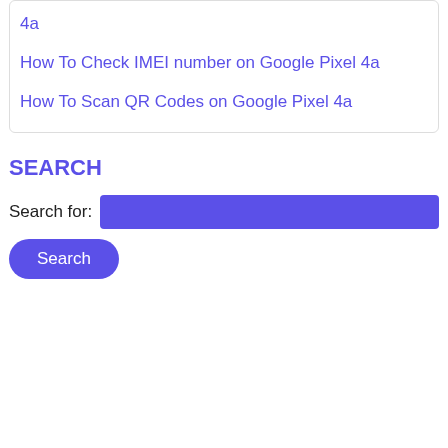4a
How To Check IMEI number on Google Pixel 4a
How To Scan QR Codes on Google Pixel 4a
SEARCH
Search for: [input field]
Search